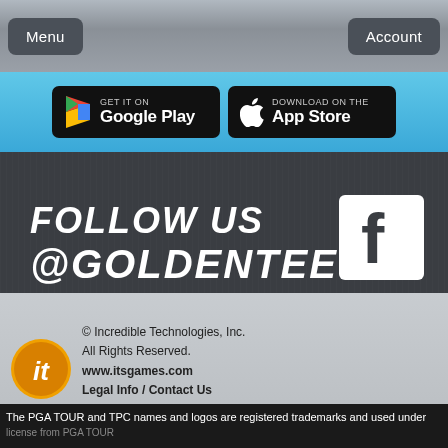Menu | Account
[Figure (screenshot): App store download buttons: GET IT ON Google Play and Download on the App Store, on a blue gradient background]
FOLLOW US @GOLDENTEE
[Figure (illustration): Social media icons: Facebook (top right large), Twitter, Instagram, YouTube, Twitch]
© Incredible Technologies, Inc. All Rights Reserved. www.itsgames.com Legal Info / Contact Us | The PGA TOUR and TPC names and logos are registered trademarks and used under license from PGA TOUR